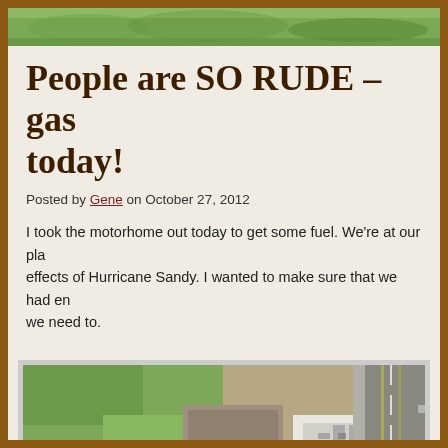[Figure (photo): Top green banner/header image strip of a blog website]
People are SO RUDE – gas today!
Posted by Gene on October 27, 2012
I took the motorhome out today to get some fuel. We're at our pla effects of Hurricane Sandy. I wanted to make sure that we had en we need to.
[Figure (photo): Aerial satellite view of a gas station area showing buildings, green grass, parking lot, and a road with lane markings]